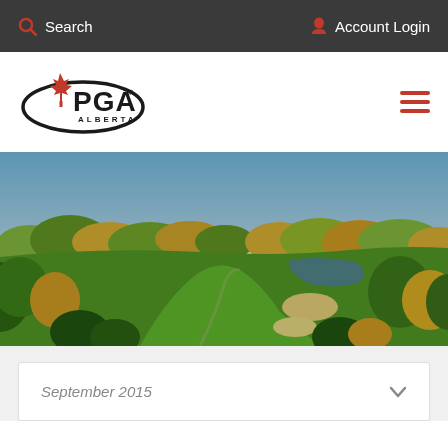Search | Account Login
[Figure (logo): PGA Alberta logo with red maple leaf and oval swoosh]
[Figure (photo): Aerial photo of a golf course with green fairways, sand bunkers, water hazards, and surrounding trees in autumn colours under a blue sky]
September 2015